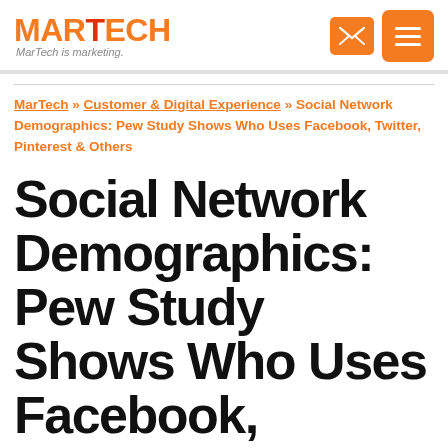MARTECH — MarTech is marketing.
MarTech » Customer & Digital Experience » Social Network Demographics: Pew Study Shows Who Uses Facebook, Twitter, Pinterest & Others
Social Network Demographics: Pew Study Shows Who Uses Facebook, Twitter, Pinterest & Oth…